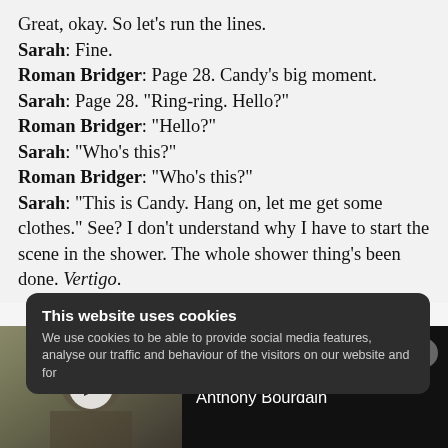Great, okay. So let's run the lines. Sarah: Fine. Roman Bridger: Page 28. Candy's big moment. Sarah: Page 28. "Ring-ring. Hello?" Roman Bridger: "Hello?" Sarah: "Who's this?" Roman Bridger: "Who's this?" Sarah: "This is Candy. Hang on, let me get some clothes." See? I don't understand why I have to start the scene in the shower. The whole shower thing's been done. Vertigo.
[Figure (screenshot): Cookie consent banner overlay on the webpage, dark rounded rectangle with title 'This website uses cookies' and body text about cookie usage.]
[Figure (screenshot): Video player bar at bottom showing a thumbnail of a person with 'Roadrunner: A Film About Anthony Bourdain' title and close button.]